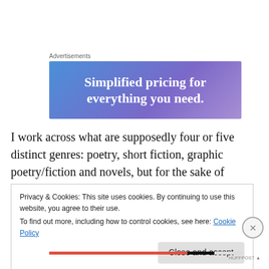Advertisements
[Figure (illustration): Advertisement banner with blue-to-purple gradient background and white bold text reading 'Simplified pricing for everything you need.']
I work across what are supposedly four or five distinct genres: poetry, short fiction, graphic poetry/fiction and novels, but for the sake of simplifying my answer here, let's just call them all story. This, I guess, is how my work
Privacy & Cookies: This site uses cookies. By continuing to use this website, you agree to their use.
To find out more, including how to control cookies, see here: Cookie Policy
Close and accept